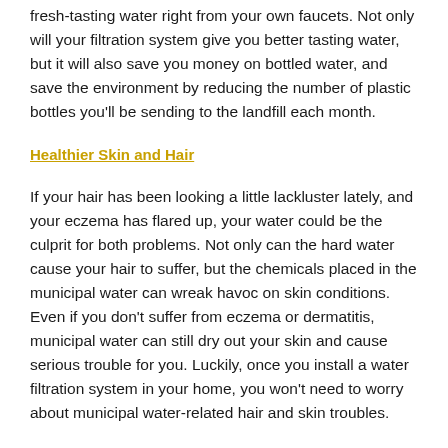fresh-tasting water right from your own faucets. Not only will your filtration system give you better tasting water, but it will also save you money on bottled water, and save the environment by reducing the number of plastic bottles you'll be sending to the landfill each month.
Healthier Skin and Hair
If your hair has been looking a little lackluster lately, and your eczema has flared up, your water could be the culprit for both problems. Not only can the hard water cause your hair to suffer, but the chemicals placed in the municipal water can wreak havoc on skin conditions. Even if you don't suffer from eczema or dermatitis, municipal water can still dry out your skin and cause serious trouble for you. Luckily, once you install a water filtration system in your home, you won't need to worry about municipal water-related hair and skin troubles.
Lower Occurrence of Gastrointestinal Problems